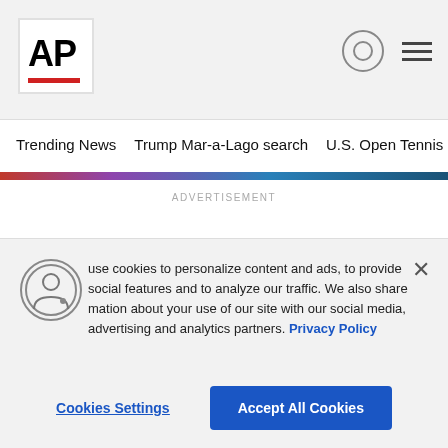[Figure (logo): AP (Associated Press) logo — bold black AP text with red horizontal bar below, in white square box]
Trending News   Trump Mar-a-Lago search   U.S. Open Tennis
ADVERTISEMENT
BEIJING (AP) — Call it love at first snowflake.
Long before he became Haiti's firs
use cookies to personalize content and ads, to provide social features and to analyze our traffic. We also share mation about your use of our site with our social media, advertising and analytics partners. Privacy Policy
Cookies Settings
Accept All Cookies